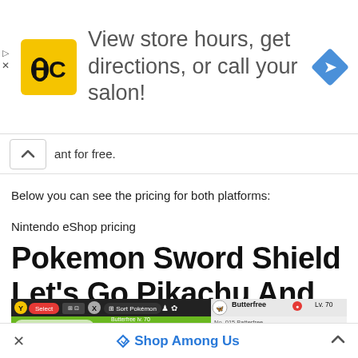[Figure (screenshot): Advertisement banner for a hair salon chain (HC logo) with text 'View store hours, get directions, or call your salon!' and a blue navigation diamond icon on the right.]
ant for free.
Below you can see the pricing for both platforms:
Nintendo eShop pricing
Pokemon Sword Shield Let's Go Pikachu And Let's Go Eevee
[Figure (screenshot): Pokemon game screenshot showing Party and Box 5 selection screen with Pokemon including Butterfree Lv. 70, Blematis Lv. 77, and others. Butterfree stats panel shown on right: No. 015, BUG/FLYING types, HP 185/185, Attack 89.]
Shop Among Us